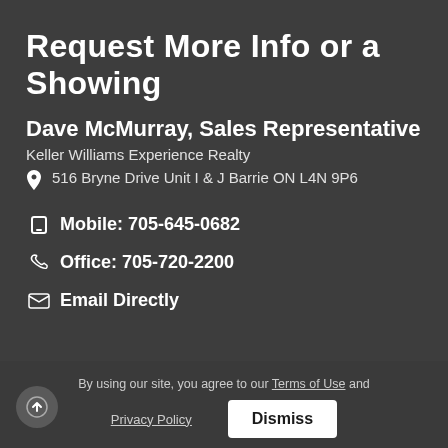Request More Info or a Showing
Dave McMurray, Sales Representative
Keller Williams Experience Realty
516 Bryne Drive Unit I & J Barrie ON L4N 9P6
Mobile: 705-645-0682
Office: 705-720-2200
Email Directly
By using our site, you agree to our Terms of Use and Privacy Policy